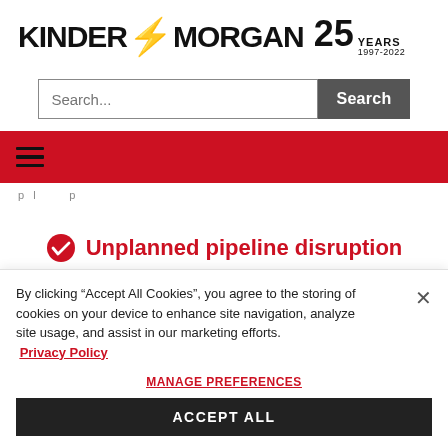[Figure (logo): Kinder Morgan logo with lightning bolt, '25 YEARS 1997-2022' text]
[Figure (screenshot): Search input field with placeholder 'Search...' and a dark gray 'Search' button]
[Figure (screenshot): Red navigation bar with hamburger menu icon]
Unplanned pipeline disruption
Time sensitive situation
By clicking "Accept All Cookies", you agree to the storing of cookies on your device to enhance site navigation, analyze site usage, and assist in our marketing efforts.
Privacy Policy
MANAGE PREFERENCES
ACCEPT ALL